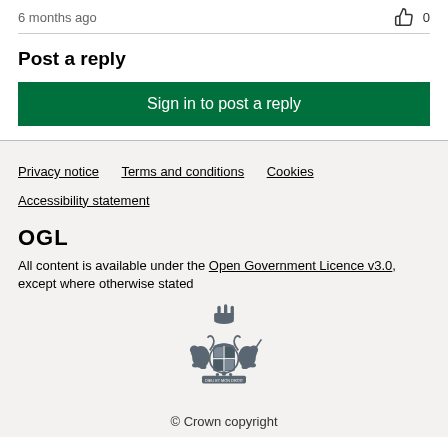6 months ago
👍 0
Post a reply
Sign in to post a reply
Privacy notice   Terms and conditions   Cookies   Accessibility statement
OGL
All content is available under the Open Government Licence v3.0, except where otherwise stated
[Figure (logo): UK Government Royal Coat of Arms crest in grey]
© Crown copyright